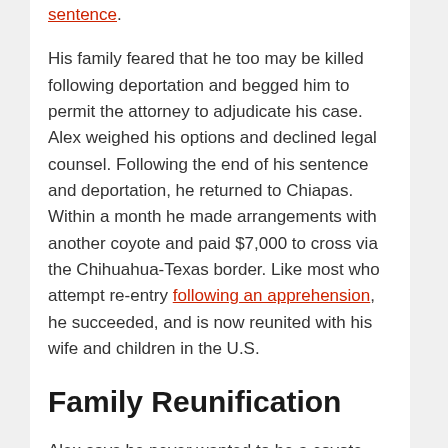sentence.
His family feared that he too may be killed following deportation and begged him to permit the attorney to adjudicate his case. Alex weighed his options and declined legal counsel. Following the end of his sentence and deportation, he returned to Chiapas. Within a month he made arrangements with another coyote and paid $7,000 to cross via the Chihuahua-Texas border. Like most who attempt re-entry following an apprehension, he succeeded, and is now reunited with his wife and children in the U.S.
Family Reunification
Alex says he never wanted to be a coyote. His story provides an opportunity to understand the complex motivations that fuel unauthorized re-entry of deportee parents